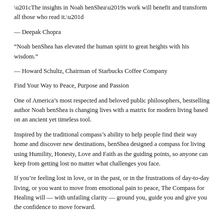“The insights in Noah benShea’s work will benefit and transform all those who read it.”
— Deepak Chopra
“Noah benShea has elevated the human spirit to great heights with his wisdom.”
— Howard Schultz, Chairman of Starbucks Coffee Company
Find Your Way to Peace, Purpose and Passion
One of America’s most respected and beloved public philosophers, bestselling author Noah benShea is changing lives with a matrix for modern living based on an ancient yet timeless tool.
Inspired by the traditional compass’s ability to help people find their way home and discover new destinations, benShea designed a compass for living using Humility, Honesty, Love and Faith as the guiding points, so anyone can keep from getting lost no matter what challenges you face.
If you’re feeling lost in love, or in the past, or in the frustrations of day-to-day living, or you want to move from emotional pain to peace, The Compass for Healing will — with unfailing clarity — ground you, guide you and give you the confidence to move forward.